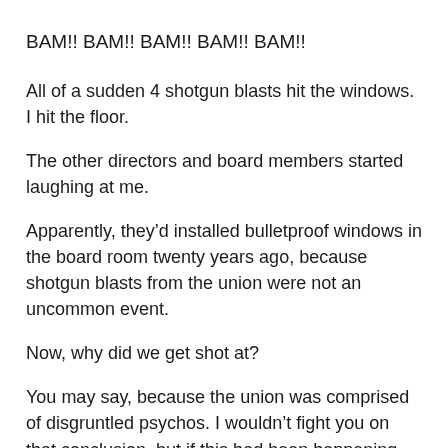BAM!! BAM!! BAM!! BAM!! BAM!!
All of a sudden 4 shotgun blasts hit the windows. I hit the floor.
The other directors and board members started laughing at me.
Apparently, they’d installed bulletproof windows in the board room twenty years ago, because shotgun blasts from the union were not an uncommon event.
Now, why did we get shot at?
You may say, because the union was comprised of disgruntled psychos. I wouldn’t fight you on that conclusion, but if this had been happening for twenty years, there’s clearly there was something else...